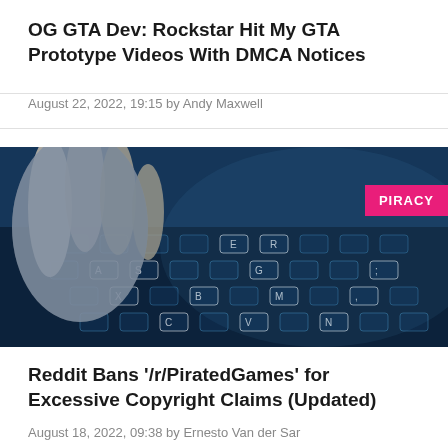OG GTA Dev: Rockstar Hit My GTA Prototype Videos With DMCA Notices
August 22, 2022, 19:15 by Andy Maxwell
[Figure (photo): Close-up of a hand typing on a keyboard with blue lighting, representing piracy/hacking theme. Has a pink 'PIRACY' badge in the top right corner.]
Reddit Bans '/r/PiratedGames' for Excessive Copyright Claims (Updated)
August 18, 2022, 09:38 by Ernesto Van der Sar